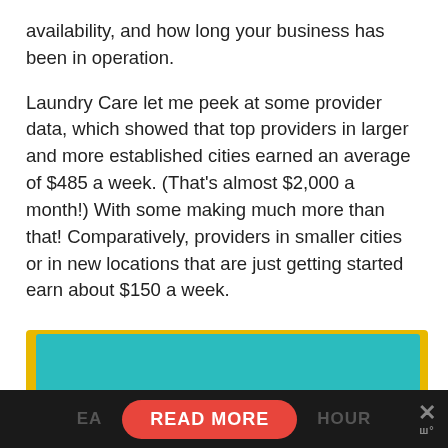availability, and how long your business has been in operation.
Laundry Care let me peek at some provider data, which showed that top providers in larger and more established cities earned an average of $485 a week. (That's almost $2,000 a month!) With some making much more than that! Comparatively, providers in smaller cities or in new locations that are just getting started earn about $150 a week.
[Figure (other): Advertisement banner with yellow border, teal background, and a black bottom bar containing a red 'READ MORE' button, partial text 'EA...HOUR' and a close (X) button with dots below.]